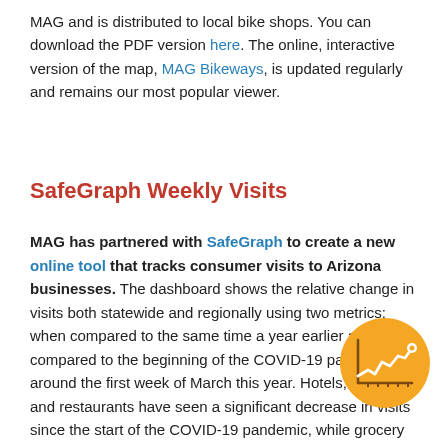MAG and is distributed to local bike shops. You can download the PDF version here. The online, interactive version of the map, MAG Bikeways, is updated regularly and remains our most popular viewer.
SafeGraph Weekly Visits
MAG has partnered with SafeGraph to create a new online tool that tracks consumer visits to Arizona businesses. The dashboard shows the relative change in visits both statewide and regionally using two metrics: when compared to the same time a year earlier and when compared to the beginning of the COVID-19 pandemic around the first week of March this year. Hotels, motels, and restaurants have seen a significant decrease in visits since the start of the COVID-19 pandemic, while grocery stores, gas stations and home improvement outlets have fared better. In more
[Figure (illustration): Orange circular icon with a line chart graphic in white/brown tones, representing data visualization or analytics]